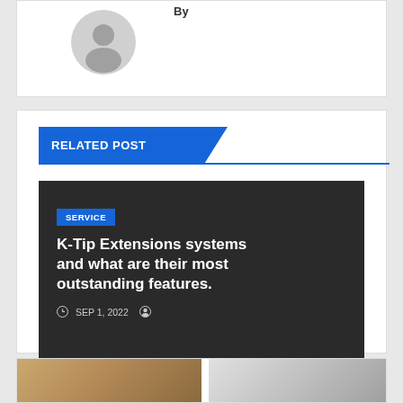By
[Figure (illustration): Default user avatar circle with grey silhouette of a person]
RELATED POST
[Figure (photo): Dark background article card with SERVICE badge, title K-Tip Extensions systems and what are their most outstanding features., date SEP 1, 2022 and author icon]
[Figure (photo): Bottom strip showing two thumbnail images partially visible]